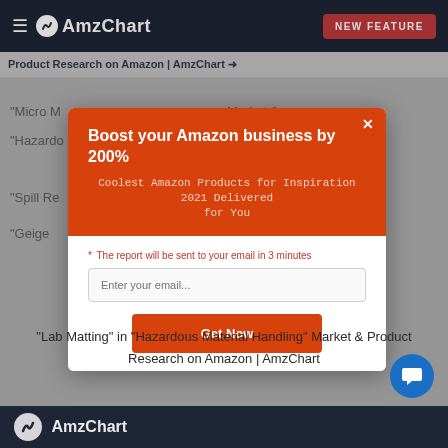AmzChart — NEW FEATURE
Product Research on Amazon | AmzChart →
"Micro M... Market &
"Hazardo... Handling" M... rt
"Spill Re... Market &
"Geige... rket &
[Figure (screenshot): Modal popup with orange header reading 'Boost your Amazon business by 200%' and subtitle 'Coolest Amazon Products for Inspiration 2021 Delivered for You', with an email input field and 'Get Now' button]
"Lab Matting" in "Hazardous Material Handling" Market & Product Research on Amazon | AmzChart
AmzChart logo footer